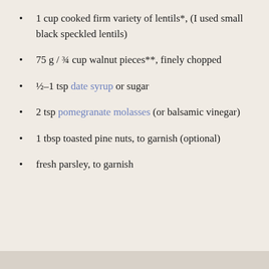1 cup cooked firm variety of lentils*, (I used small black speckled lentils)
75 g / ¾ cup walnut pieces**, finely chopped
½–1 tsp date syrup or sugar
2 tsp pomegranate molasses (or balsamic vinegar)
1 tbsp toasted pine nuts, to garnish (optional)
fresh parsley, to garnish